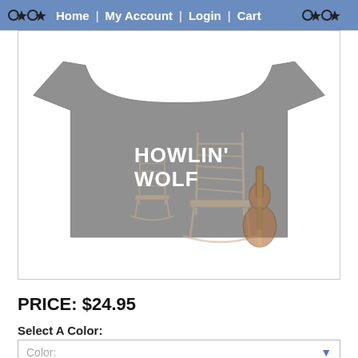Home | My Account | Login | Cart
[Figure (photo): Gray t-shirt with Howlin' Wolf text and rocking chairs with guitar graphic printed on the front]
PRICE:  $24.95
Select A Color:
Color: